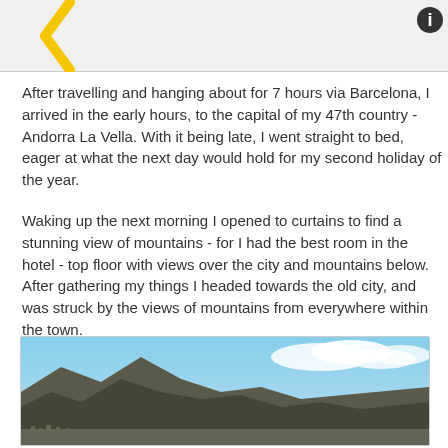After travelling and hanging about for 7 hours via Barcelona, I arrived in the early hours, to the capital of my 47th country - Andorra La Vella. With it being late, I went straight to bed, eager at what the next day would hold for my second holiday of the year.
Waking up the next morning I opened to curtains to find a stunning view of mountains - for I had the best room in the hotel - top floor with views over the city and mountains below. After gathering my things I headed towards the old city, and was struck by the views of mountains from everywhere within the town.
[Figure (photo): Mountain landscape view with blue sky and clouds, city visible at the base of the mountains - view from Andorra La Vella]